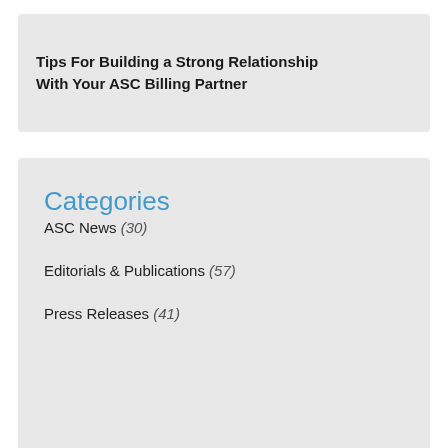Tips For Building a Strong Relationship With Your ASC Billing Partner
Categories
ASC News (30)
Editorials & Publications (57)
Press Releases (41)